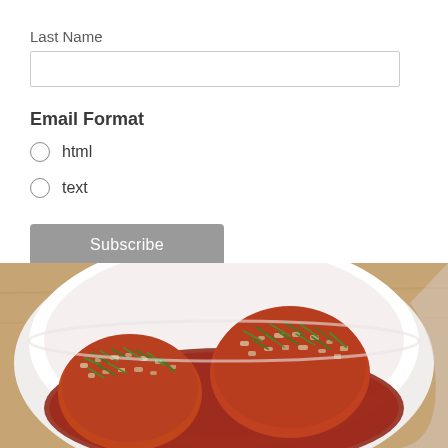Last Name
[Figure (screenshot): Empty text input field for Last Name]
Email Format
html
text
Subscribe
[Figure (photo): A white bowl containing meatballs in red tomato sauce topped with chopped green chives and breadcrumbs, served on a wooden surface]